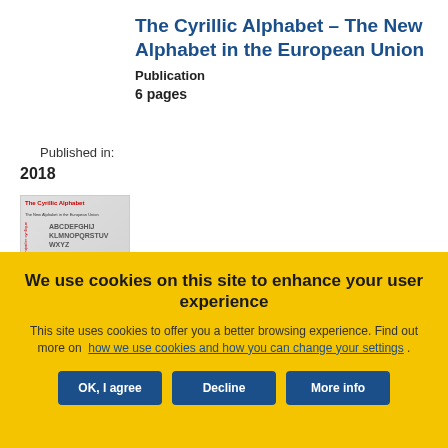The Cyrillic Alphabet – The New Alphabet in the European Union
Publication
6 pages
Published in:
2018
[Figure (illustration): Book cover of 'The Cyrillic Alphabet – The New Alphabet in the European Union' showing Latin and Cyrillic letters with a large stylized letter 'a' inside curly braces]
We use cookies on this site to enhance your user experience
This site uses cookies to offer you a better browsing experience. Find out more on how we use cookies and how you can change your settings .